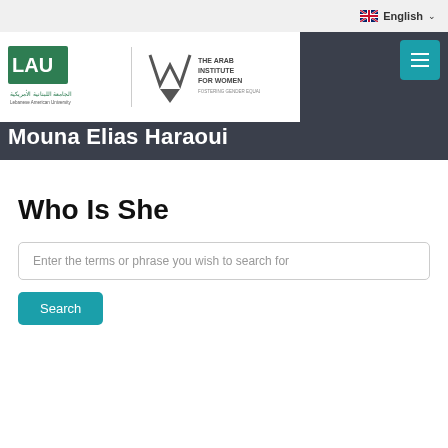English
[Figure (logo): LAU Lebanese American University and The Arab Institute for Women combined logo]
Mouna Elias Haraoui
Who Is She
Enter the terms or phrase you wish to search for
Search